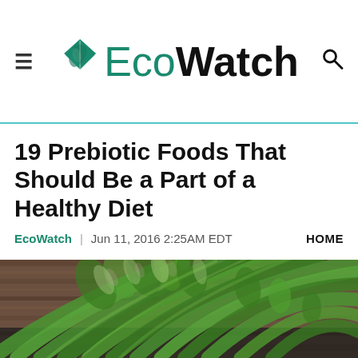EcoWatch
19 Prebiotic Foods That Should Be a Part of a Healthy Diet
EcoWatch | Jun 11, 2016 2:25AM EDT    HOME
[Figure (photo): Close-up photo of fresh green asparagus stalks bundled together on a wooden surface]